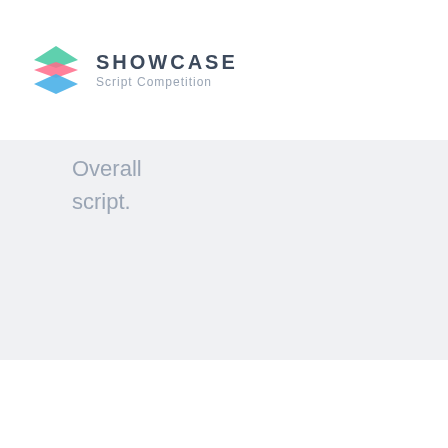[Figure (logo): Showcase Script Competition logo with layered diamond shape in green, pink, and blue colors next to the text SHOWCASE Script Competition]
Overall script.